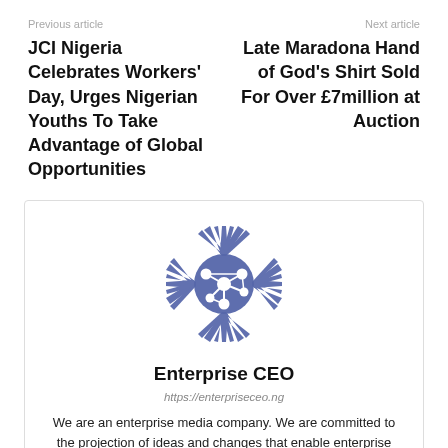Previous article    Next article
JCI Nigeria Celebrates Workers' Day, Urges Nigerian Youths To Take Advantage of Global Opportunities
Late Maradona Hand of God's Shirt Sold For Over £7million at Auction
[Figure (logo): Enterprise CEO logo: a blue spiky starburst/network icon]
Enterprise CEO
https://enterpriseceo.ng
We are an enterprise media company. We are committed to the projection of ideas and changes that enable enterprise CEOs achieve new possibilities.